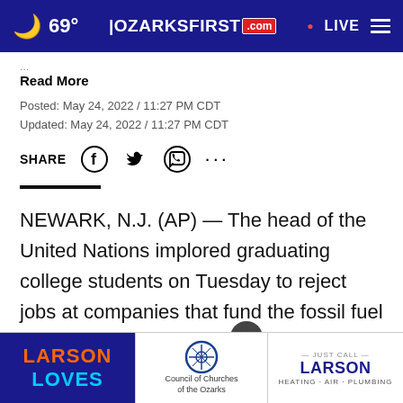69° | OZARKSFIRST.com | LIVE
Read More
Posted: May 24, 2022 / 11:27 PM CDT
Updated: May 24, 2022 / 11:27 PM CDT
SHARE
NEWARK, N.J. (AP) — The head of the United Nations implored graduating college students on Tuesday to reject jobs at companies that fund the fossil fuel industry he described as “killing our planet.”
U.N. Secretary-General Antonio Guterres made his remarks at Seton Hall University